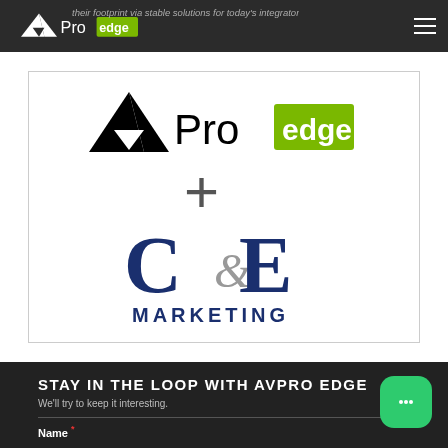AVPro Edge — their footprint via stable solutions for today's integrator
[Figure (logo): AVPro Edge logo plus C&E Marketing logo partnership graphic. AVPro edge logo at top, a plus symbol in the middle, and C&E Marketing logo below.]
STAY IN THE LOOP WITH AVPRO EDGE
We'll try to keep it interesting.
Name *